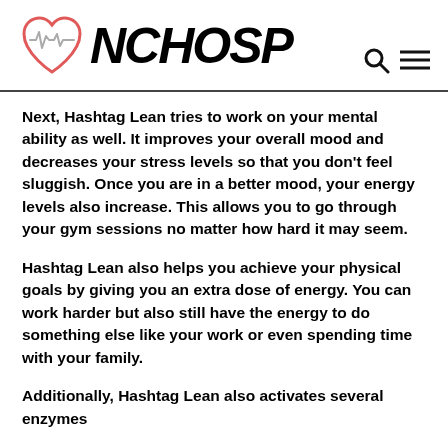NCHOSP
Next, Hashtag Lean tries to work on your mental ability as well. It improves your overall mood and decreases your stress levels so that you don't feel sluggish. Once you are in a better mood, your energy levels also increase. This allows you to go through your gym sessions no matter how hard it may seem.
Hashtag Lean also helps you achieve your physical goals by giving you an extra dose of energy. You can work harder but also still have the energy to do something else like your work or even spending time with your family.
Additionally, Hashtag Lean also activates several enzymes